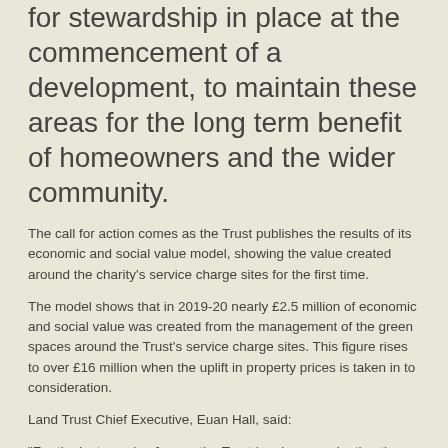for stewardship in place at the commencement of a development, to maintain these areas for the long term benefit of homeowners and the wider community.
The call for action comes as the Trust publishes the results of its economic and social value model, showing the value created around the charity’s service charge sites for the first time.
The model shows that in 2019-20 nearly £2.5 million of economic and social value was created from the management of the green spaces around the Trust’s service charge sites. This figure rises to over £16 million when the uplift in property prices is taken in to consideration.
Land Trust Chief Executive, Euan Hall, said:
“For the last couple of years the Trust has been evaluating the economic impact that the management of our green spaces creates. This year for the first time we have applied that model specifically to our service charge sites to try and ascertain the impact we are having on these areas, the homeowners and the wider community.
“The results are very encouraging and we are pleased to see the benefits that we are having on the communities we serve. However